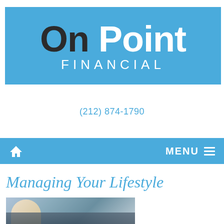[Figure (logo): On Point Financial logo on blue background. Large text reads 'On Point' with 'On' in dark/black color and 'Point' in white, followed by 'FINANCIAL' in white spaced letters below.]
(212) 874-1790
[Figure (screenshot): Navigation bar with home icon on the left and MENU with hamburger icon on the right, on a blue background.]
Managing Your Lifestyle
[Figure (photo): Photo of a person near a car, partially visible at the bottom of the page.]